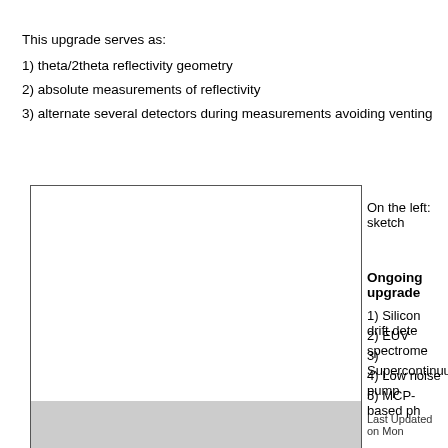This upgrade serves as:
1) theta/2theta reflectivity geometry
2) absolute measurements of reflectivity
3) alternate several detectors during measurements avoiding venting
[Figure (illustration): Sketch of the upgrade setup showing a rectangular diagram with a grey/shaded lower section]
On the left: sketch
Ongoing upgrade
1) Silicon drift dete
2) EUV spectrome
3) Supercontinuum
4) Low noise pump
5) MCP-based ph
Last Updated on Mon